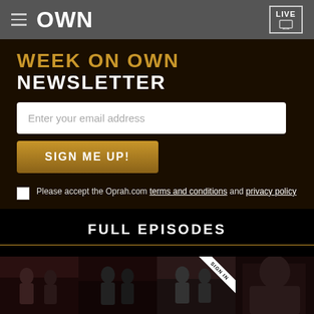OWN — LIVE
WEEK ON OWN NEWSLETTER
Enter your email address
SIGN ME UP!
Please accept the Oprah.com terms and conditions and privacy policy
FULL EPISODES
[Figure (photo): Four thumbnail images of TV show episodes in a horizontal row. Third thumbnail has a 'SIGN IN' diagonal badge overlay.]